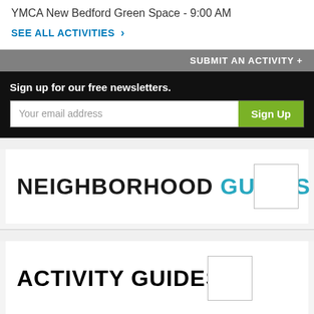YMCA New Bedford Green Space - 9:00 AM
SEE ALL ACTIVITIES >
SUBMIT AN ACTIVITY +
Sign up for our free newsletters.
Your email address
Sign Up
NEIGHBORHOOD GUIDES
ACTIVITY GUIDES